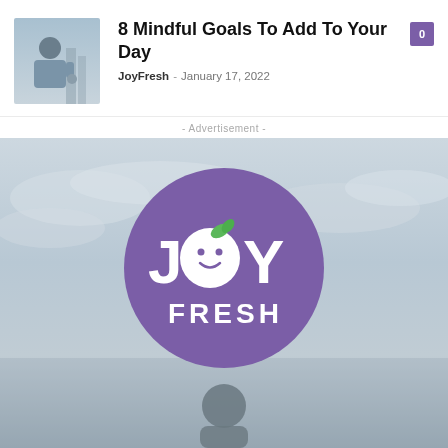8 Mindful Goals To Add To Your Day
JoyFresh - January 17, 2022
- Advertisement -
[Figure (logo): JoyFresh advertisement banner with purple circle logo on a light blue sky background with a person partially visible at the bottom]